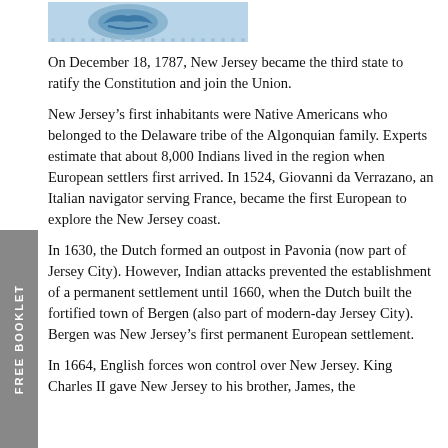[Figure (illustration): Partial image of a stamp or emblem, blue and grey tones, partially cropped at top of page]
On December 18, 1787, New Jersey became the third state to ratify the Constitution and join the Union.
New Jersey's first inhabitants were Native Americans who belonged to the Delaware tribe of the Algonquian family. Experts estimate that about 8,000 Indians lived in the region when European settlers first arrived. In 1524, Giovanni da Verrazano, an Italian navigator serving France, became the first European to explore the New Jersey coast.
In 1630, the Dutch formed an outpost in Pavonia (now part of Jersey City). However, Indian attacks prevented the establishment of a permanent settlement until 1660, when the Dutch built the fortified town of Bergen (also part of modern-day Jersey City). Bergen was New Jersey's first permanent European settlement.
In 1664, English forces won control over New Jersey. King Charles II gave New Jersey to his brother, James, the